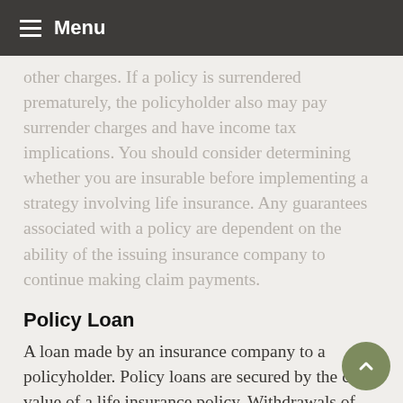Menu
other charges. If a policy is surrendered prematurely, the policyholder also may pay surrender charges and have income tax implications. You should consider determining whether you are insurable before implementing a strategy involving life insurance. Any guarantees associated with a policy are dependent on the ability of the issuing insurance company to continue making claim payments.
Policy Loan
A loan made by an insurance company to a policyholder. Policy loans are secured by the cash value of a life insurance policy. Withdrawals of earnings are fully taxable at ordinary income tax rates. If you are under age 59½ when you make the withdrawal, you may also be subject to a 10% federal income tax penalty. Also, withdrawals may reduce the benefits and value of the contract.